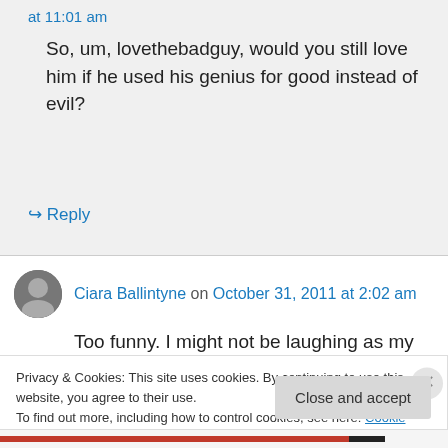at 11:01 am
So, um, lovethebadguy, would you still love him if he used his genius for good instead of evil?
↳ Reply
Ciara Ballintyne on October 31, 2011 at 2:02 am
Too funny. I might not be laughing as my daughter gets older…
Privacy & Cookies: This site uses cookies. By continuing to use this website, you agree to their use. To find out more, including how to control cookies, see here: Cookie Policy